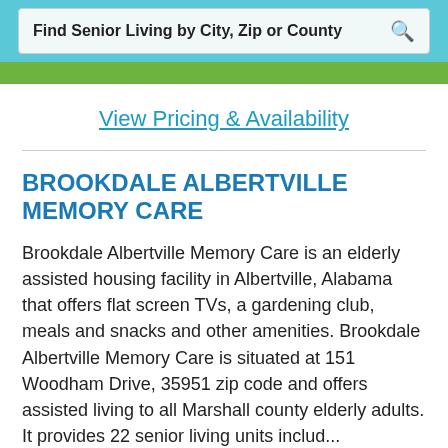Find Senior Living by City, Zip or County
View Pricing & Availability
BROOKDALE ALBERTVILLE MEMORY CARE
Brookdale Albertville Memory Care is an elderly assisted housing facility in Albertville, Alabama that offers flat screen TVs, a gardening club, meals and snacks and other amenities. Brookdale Albertville Memory Care is situated at 151 Woodham Drive, 35951 zip code and offers assisted living to all Marshall county elderly adults. It provides 22 senior living units includ...